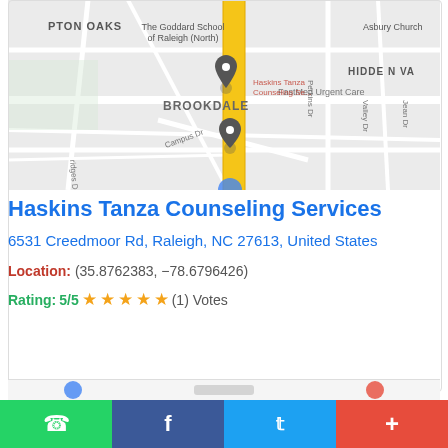[Figure (map): Google Maps screenshot showing area around Haskins Tanza Counseling Services at 6531 Creedmoor Rd, Raleigh NC. Shows streets including Campus Dr, Perkins Dr, Valley Dr, Jean Dr. Nearby landmarks: The Goddard School of Raleigh (North), Asbury Church, FastMed Urgent Care. Neighborhoods: BROOKDALE, PTON OAKS, HIDDEN VA. Yellow road (Creedmoor Rd) runs vertically. Two map pins visible.]
Haskins Tanza Counseling Services
6531 Creedmoor Rd, Raleigh, NC 27613, United States
Location: (35.8762383, -78.6796426)
Rating: 5/5 ★★★★★ (1) Votes
CONTACT DETAILS